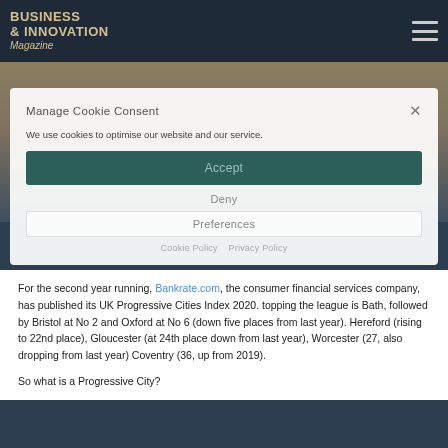BUSINESS & INNOVATION Magazine
Manage Cookie Consent
We use cookies to optimise our website and our service.
Accept
Deny
Preferences
Cookie Policy  Privacy Policy
For the second year running, Bankrate.com, the consumer financial services company, has published its UK Progressive Cities Index 2020. topping the league is Bath, followed by Bristol at No 2 and Oxford at No 6 (down five places from last year). Hereford (rising to 22nd place), Gloucester (at 24th place down from last year), Worcester (27, also dropping from last year) Coventry (36, up from 2019).
So what is a Progressive City?